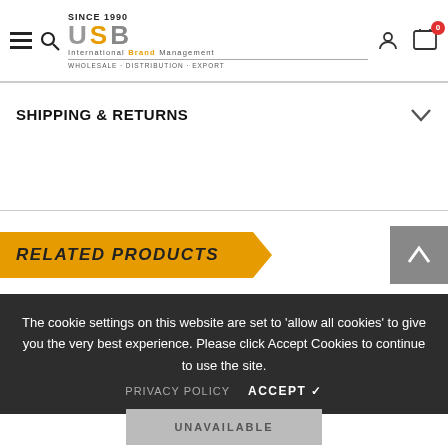SINCE 1990 USB International Brand Management WHOLESALE · DISTRIBUTION · EXPORT
SHIPPING & RETURNS
RELATED PRODUCTS
The cookie settings on this website are set to 'allow all cookies' to give you the very best experience. Please click Accept Cookies to continue to use the site.
PRIVACY POLICY   ACCEPT ✓
UNAVAILABLE